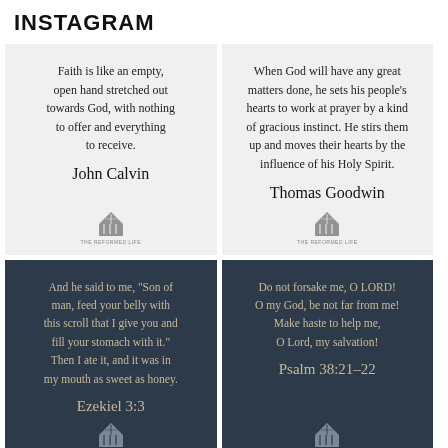INSTAGRAM
[Figure (screenshot): Instagram post with light background showing a quote by John Calvin: 'Faith is like an empty, open hand stretched out towards God, with nothing to offer and everything to receive.' with logo at bottom]
[Figure (screenshot): Instagram post with light background showing a quote by Thomas Goodwin: 'When God will have any great matters done, he sets his people's hearts to work at prayer by a kind of gracious instinct. He stirs them up and moves their hearts by the influence of his Holy Spirit.' with logo at bottom]
[Figure (screenshot): Instagram post with dark navy background showing a quote from Ezekiel 3:3: 'And he said to me, Son of man, feed your belly with this scroll that I give you and fill your stomach with it. Then I ate it, and it was in my mouth as sweet as honey.' with logo at bottom]
[Figure (screenshot): Instagram post with dark navy background showing a quote from Psalm 38:21-22: 'Do not forsake me, O LORD! O my God, be not far from me! Make haste to help me, O Lord, my salvation!' with logo at bottom]